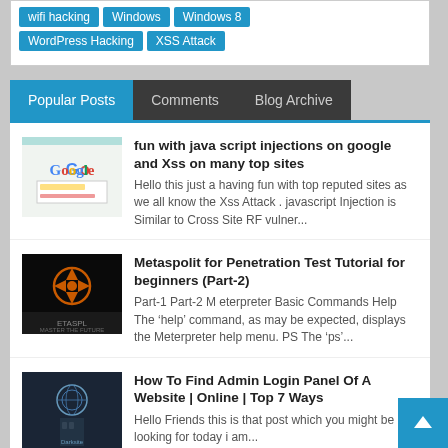wifi hacking
Windows
Windows 8
WordPress Hacking
XSS Attack
Popular Posts | Comments | Blog Archive
fun with java script injections on google and Xss on many top sites
Hello this just a having fun with top reputed sites as we all know the Xss Attack . javascript Injection is Similar to Cross Site RF vulner...
Metaspolit for Penetration Test Tutorial for beginners (Part-2)
Part-1 Part-2 M eterpreter Basic Commands Help The ‘help’ command, as may be expected, displays the Meterpreter help menu. PS The ‘ps’...
How To Find Admin Login Panel Of A Website | Online | Top 7 Ways
Hello Friends this is that post which you might be looking for today i am...